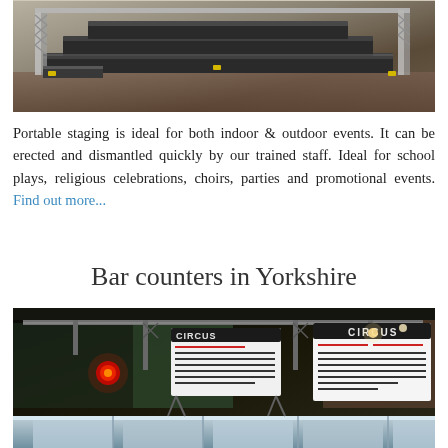[Figure (photo): Indoor warehouse with portable staging equipment — silver metal truss frames and black platform stages stacked and assembled]
Portable staging is ideal for both indoor & outdoor events. It can be erected and dismantled quickly by our trained staff. Ideal for school plays, religious celebrations, choirs, parties and promotional events. Find out more...
Bar counters in Yorkshire
[Figure (photo): Indoor event venue with bar counters, overhead truss lighting rigs, and large illuminated menu boards reading CIRCUS, with red stage lighting]